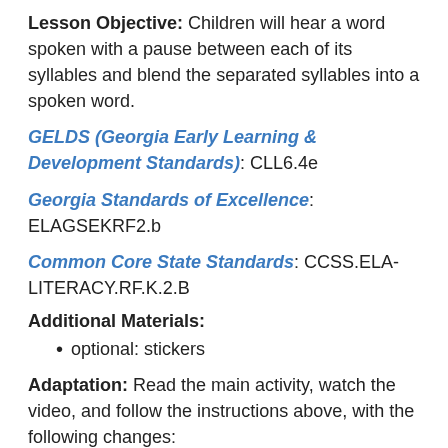Lesson Objective: Children will hear a word spoken with a pause between each of its syllables and blend the separated syllables into a spoken word.
GELDS (Georgia Early Learning & Development Standards): CLL6.4e
Georgia Standards of Excellence: ELAGSEKRF2.b
Common Core State Standards: CCSS.ELA-LITERACY.RF.K.2.B
Additional Materials:
optional: stickers
Adaptation: Read the main activity, watch the video, and follow the instructions above, with the following changes:
Give each child a picture card before the table...